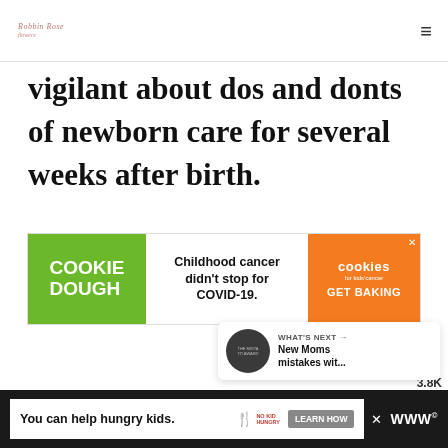website logo and hamburger menu
vigilant about dos and donts of newborn care for several weeks after birth.
[Figure (screenshot): Cookie Dough advertisement banner: left green section says COOKIE DOUGH, center white section says Childhood cancer didn't stop for COVID-19., right orange section shows cookies for kids' cancer logo and GET BAKING call to action]
3.8K
WHAT'S NEXT → New Moms mistakes wit...
[Figure (screenshot): Bottom banner ad: You can help hungry kids. No Kid Hungry logo. LEARN HOW button. Close X. Website logo.]